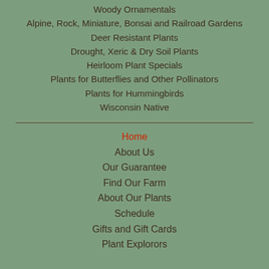Woody Ornamentals
Alpine, Rock, Miniature, Bonsai and Railroad Gardens
Deer Resistant Plants
Drought, Xeric & Dry Soil Plants
Heirloom Plant Specials
Plants for Butterflies and Other Pollinators
Plants for Hummingbirds
Wisconsin Native
Home
About Us
Our Guarantee
Find Our Farm
About Our Plants
Schedule
Gifts and Gift Cards
Plant Explorers